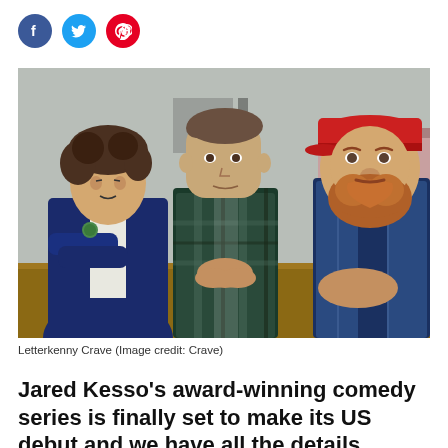[Figure (other): Three social media icons: Facebook (blue circle), Twitter (blue circle), Pinterest (red circle)]
[Figure (photo): Three men sitting at a wooden table in what appears to be a meeting or hearing setting. Left man has curly hair and crossed arms wearing a dark blue jacket. Center man is larger, wearing a plaid flannel shirt with hands clasped on the table. Right man is heavyset with a red cap and beard, wearing a denim vest. A glass of water and notepad are visible on the table. This is a scene from Letterkenny on Crave.]
Letterkenny Crave (Image credit: Crave)
Jared Kesso's award-winning comedy series is finally set to make its US debut and we have all the details